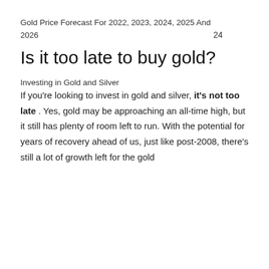Gold Price Forecast For 2022, 2023, 2024, 2025 And 2026
24
Is it too late to buy gold?
Investing in Gold and Silver
If you're looking to invest in gold and silver, it's not too late . Yes, gold may be approaching an all-time high, but it still has plenty of room left to run. With the potential for years of recovery ahead of us, just like post-2008, there's still a lot of growth left for the gold